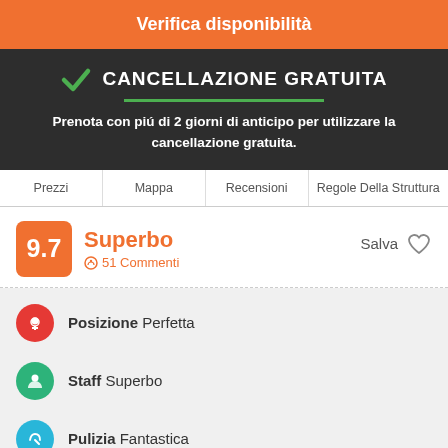Verifica disponibilità
CANCELLAZIONE GRATUITA
Prenota con piú di 2 giorni di anticipo per utilizzare la cancellazione gratuita.
Prezzi
Mappa
Recensioni
Regole Della Struttura
9.7
Superbo
51 Commenti
Salva
Posizione Perfetta
Staff Superbo
Pulizia Fantastica
Welcome to Hi Hollenfels, our youth hostel is located right next to the castle.